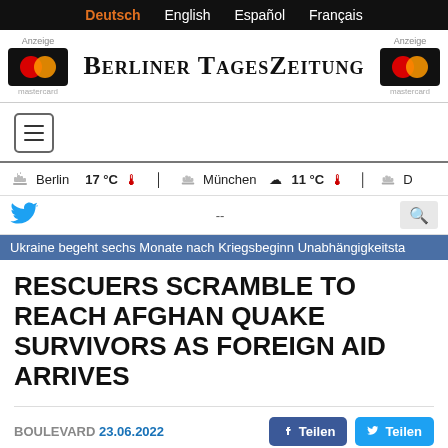Deutsch  English  Español  Français
Berliner TagesZeitung
Berlin  17 °C  |  München  11 °C  |  D
--
Ukraine begeht sechs Monate nach Kriegsbeginn Unabhängigkeitsta
RESCUERS SCRAMBLE TO REACH AFGHAN QUAKE SURVIVORS AS FOREIGN AID ARRIVES
BOULEVARD 23.06.2022
Teilen  Teilen